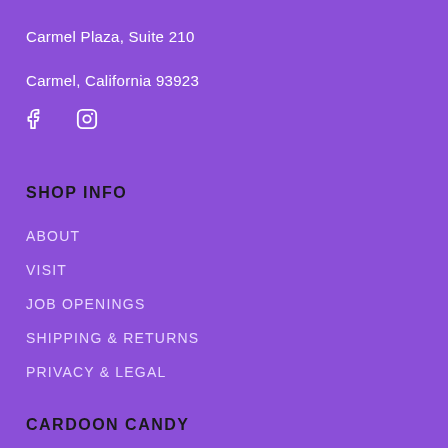Carmel Plaza, Suite 210
Carmel, California 93923
[Figure (other): Social media icons: Facebook and Instagram icons in white]
SHOP INFO
ABOUT
VISIT
JOB OPENINGS
SHIPPING & RETURNS
PRIVACY & LEGAL
CARDOON CANDY